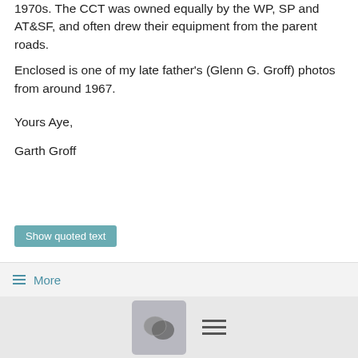1970s. The CCT was owned equally by the WP, SP and AT&SF, and often drew their equipment from the parent roads.
Enclosed is one of my late father's (Glenn G. Groff) photos from around 1967.
Yours Aye,
Garth Groff
Show quoted text
≡ More